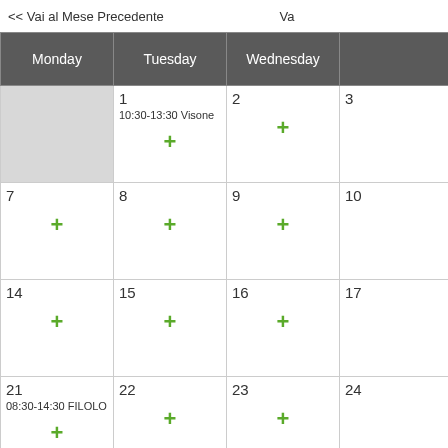<< Vai al Mese Precedente    Va
| Monday | Tuesday | Wednesday |  |
| --- | --- | --- | --- |
| (empty) | 1
10:30-13:30 Visone + | 2 + | 3 |
| 7 + | 8 + | 9 + | 10 |
| 14 + | 15 + | 16 + | 17 |
| 21
08:30-14:30 FILOLO + | 22 + | 23 + | 24 |